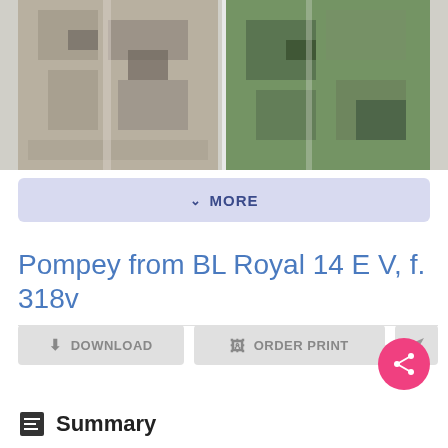[Figure (photo): Two aerial/satellite images side by side showing an overhead view of what appears to be ancient ruins or archaeological site]
MORE
Pompey from BL Royal 14 E V, f. 318v
DOWNLOAD
ORDER PRINT
Summary